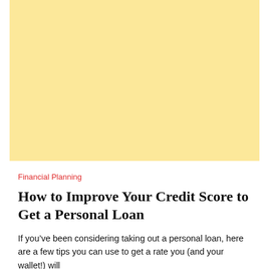[Figure (illustration): Large yellow/cream colored rectangular placeholder image block]
Financial Planning
How to Improve Your Credit Score to Get a Personal Loan
If you’ve been considering taking out a personal loan, here are a few tips you can use to get a rate you (and your wallet!) will